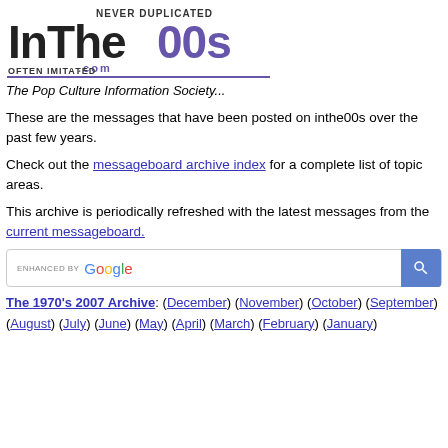[Figure (logo): InThe00s.com logo — stylized text with 'NEVER DUPLICATED' above and 'OFTEN IMITATED' below, purple/black retro style]
The Pop Culture Information Society...
These are the messages that have been posted on inthe00s over the past few years.
Check out the messageboard archive index for a complete list of topic areas.
This archive is periodically refreshed with the latest messages from the current messageboard.
[Figure (other): Google search box with 'enhanced by Google' label and blue search button]
The 1970's 2007 Archive: (December) (November) (October) (September) (August) (July) (June) (May) (April) (March) (February) (January)